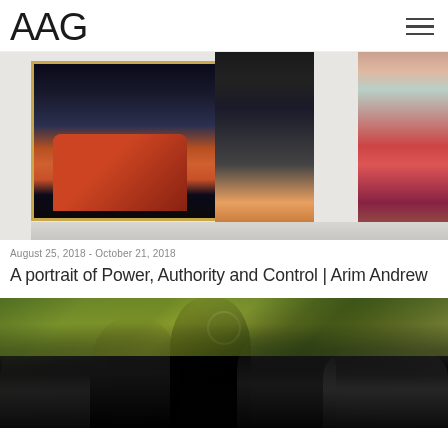AAG
[Figure (photo): Gallery visitors viewing a large figurative painting featuring a person seated in a red chair against a dark background; two visitors are visible from behind looking at the artwork on a white gallery wall.]
August 25, 2018 - October 21, 2018
A portrait of Power, Authority and Control | Arim Andrew
[Figure (photo): A large figurative painting depicting a crowd of people gathered around a central figure; the background features green and yellow tones with dark overlaid figures in the foreground.]